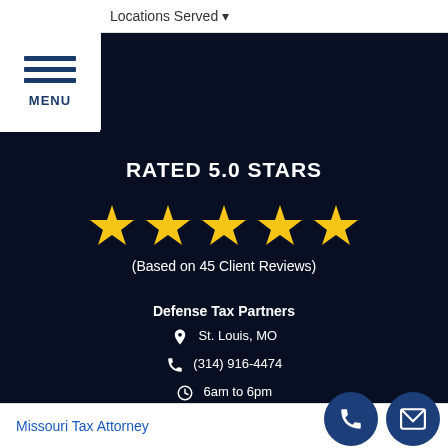Locations Served
MENU
RATED 5.0 STARS
[Figure (infographic): Five gold stars rating display]
(Based on 45 Client Reviews)
Defense Tax Partners
St. Louis, MO
(314) 916-4474
6am to 6pm
Missouri Tax Attorney